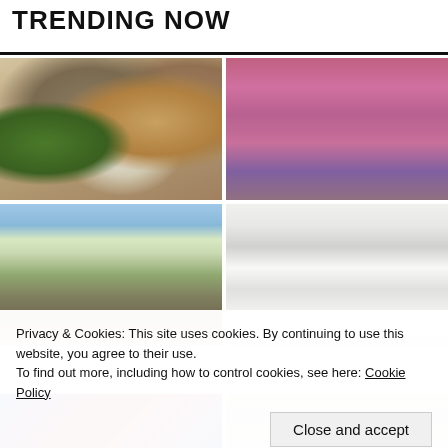TRENDING NOW
[Figure (photo): Top-down view of a charcuterie board with olives, cheeses, meats, fruits, and dips]
[Figure (photo): Interior of a modern bar/lounge with pink and purple lighting, stylized martini glass decor on walls, and plush seating]
[Figure (photo): Scenic landscape with mountains and greenery under a hazy sky]
[Figure (photo): Interior of a cafe or restaurant with wicker pendant lights and a chalkboard]
[Figure (photo): Bottom strip left: colorful textile or market scene]
[Figure (photo): Bottom strip right: light-colored interior or display]
Privacy & Cookies: This site uses cookies. By continuing to use this website, you agree to their use.
To find out more, including how to control cookies, see here: Cookie Policy
Close and accept